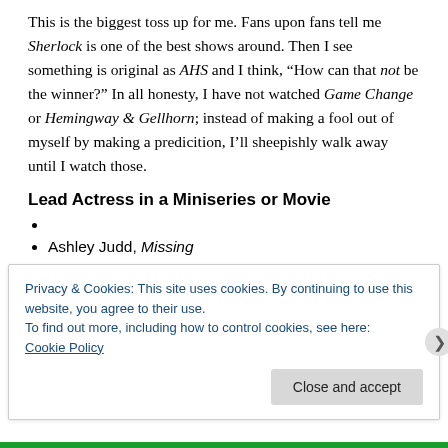This is the biggest toss up for me. Fans upon fans tell me Sherlock is one of the best shows around. Then I see something is original as AHS and I think, “How can that not be the winner?” In all honesty, I have not watched Game Change or Hemingway & Gellhorn; instead of making a fool out of myself by making a predicition, I’ll sheepishly walk away until I watch those.
Lead Actress in a Miniseries or Movie
Ashley Judd, Missing
Privacy & Cookies: This site uses cookies. By continuing to use this website, you agree to their use.
To find out more, including how to control cookies, see here: Cookie Policy
Close and accept